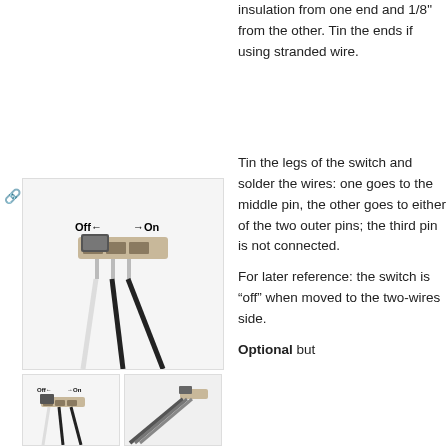insulation from one end and 1/8" from the other. Tin the ends if using stranded wire.
[Figure (photo): Close-up photo of a small slide switch with two wires soldered to it. Labels show 'Off' with left arrow and 'On' with right arrow indicating switch direction.]
[Figure (photo): Smaller view of the same switch with Off/On labels.]
[Figure (photo): Side view of the switch showing the wire leads.]
Tin the legs of the switch and solder the wires: one goes to the middle pin, the other goes to either of the two outer pins; the third pin is not connected.
For later reference: the switch is “off” when moved to the two-wires side.
Optional but